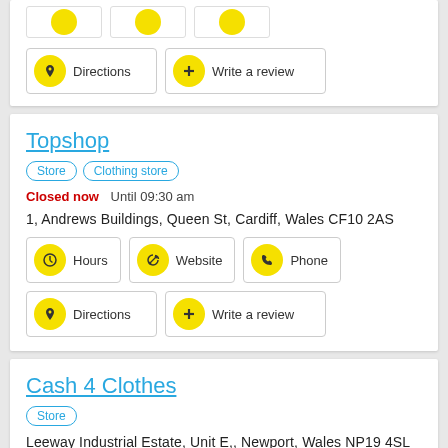[Figure (screenshot): Partial top card with three yellow icon placeholders and two buttons: Directions and Write a review]
Topshop
Store  Clothing store
Closed now  Until 09:30 am
1, Andrews Buildings, Queen St, Cardiff, Wales CF10 2AS
Hours  Website  Phone
Directions  Write a review
Cash 4 Clothes
Store
Leeway Industrial Estate, Unit E,, Newport, Wales NP19 4SL
Website  Phone  Directions